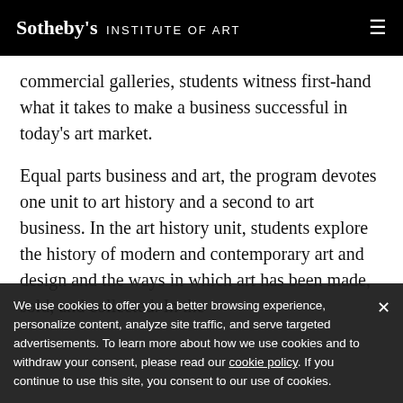Sotheby's INSTITUTE OF ART
commercial galleries, students witness first-hand what it takes to make a business successful in today's art market.
Equal parts business and art, the program devotes one unit to art history and a second to art business. In the art history unit, students explore the history of modern and contemporary art and design and the ways in which art has been made, sold, and collected. In the
We use cookies to offer you a better browsing experience, personalize content, analyze site traffic, and serve targeted advertisements. To learn more about how we use cookies and to withdraw your consent, please read our cookie policy. If you continue to use this site, you consent to our use of cookies.
practice, with a particular emphasis on the